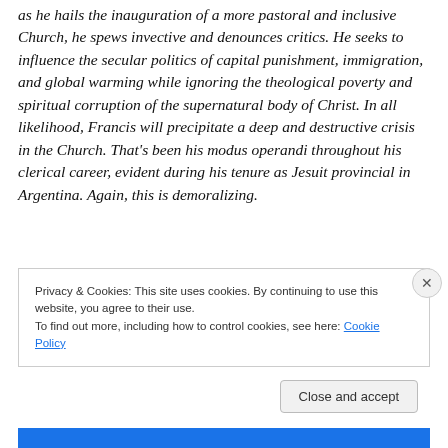as he hails the inauguration of a more pastoral and inclusive Church, he spews invective and denounces critics. He seeks to influence the secular politics of capital punishment, immigration, and global warming while ignoring the theological poverty and spiritual corruption of the supernatural body of Christ. In all likelihood, Francis will precipitate a deep and destructive crisis in the Church. That's been his modus operandi throughout his clerical career, evident during his tenure as Jesuit provincial in Argentina. Again, this is demoralizing.
Privacy & Cookies: This site uses cookies. By continuing to use this website, you agree to their use. To find out more, including how to control cookies, see here: Cookie Policy